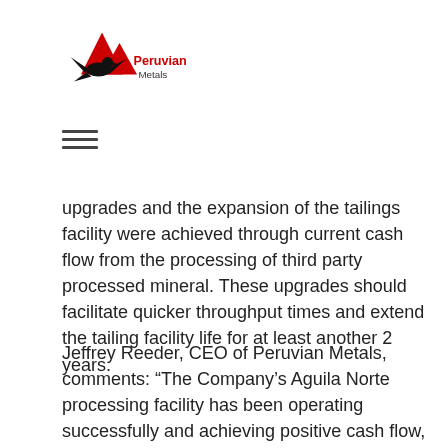[Figure (logo): Peruvian Metals logo with mountain/eagle graphic and red/black coloring]
[Figure (other): Hamburger menu icon (three horizontal lines)]
upgrades and the expansion of the tailings facility were achieved through current cash flow from the processing of third party processed mineral. These upgrades should facilitate quicker throughput times and extend the tailing facility life for at least another 2 years.
Jeffrey Reeder, CEO of Peruvian Metals, comments: “The Company’s Aguila Norte processing facility has been operating successfully and achieving positive cash flow, allowing us to reinvest and improve the plant infrastructure without the need for additional equity or debt capital. The